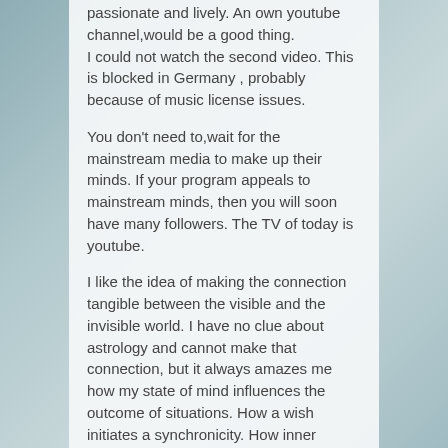passionate and lively. An own youtube channel,would be a good thing. I could not watch the second video. This is blocked in Germany , probably because of music license issues.
You don't need to,wait for the mainstream media to make up their minds. If your program appeals to mainstream minds, then you will soon have many followers. The TV of today is youtube.
I like the idea of making the connection tangible between the visible and the invisible world. I have no clue about astrology and cannot make that connection, but it always amazes me how my state of mind influences the outcome of situations. How a wish initiates a synchronicity. How inner peace resolves a situation. How a